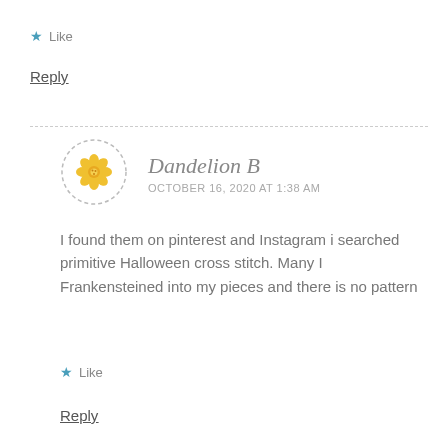★ Like
Reply
Dandelion B
OCTOBER 16, 2020 AT 1:38 AM
I found them on pinterest and Instagram i searched primitive Halloween cross stitch. Many I Frankensteined into my pieces and there is no pattern
★ Like
Reply